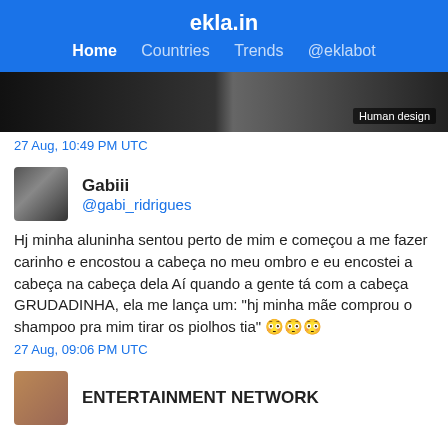ekla.in
Home  Countries  Trends  @eklabot
[Figure (photo): Dark image strip with 'Human design' label overlay]
27 Aug, 10:49 PM UTC
Gabiii
@gabi_ridrigues
Hj minha aluninha sentou perto de mim e começou a me fazer carinho e encostou a cabeça no meu ombro e eu encostei a cabeça na cabeça dela Aí quando a gente tá com a cabeça GRUDADINHA, ela me lança um: "hj minha mãe comprou o shampoo pra mim tirar os piolhos tia" 😳😳😳
27 Aug, 09:06 PM UTC
ENTERTAINMENT NETWORK